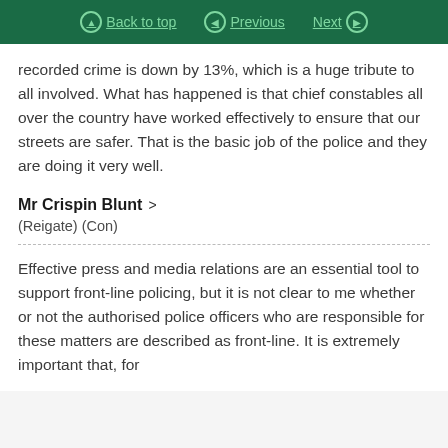Back to top | Previous | Next
recorded crime is down by 13%, which is a huge tribute to all involved. What has happened is that chief constables all over the country have worked effectively to ensure that our streets are safer. That is the basic job of the police and they are doing it very well.
Mr Crispin Blunt >
(Reigate) (Con)
Effective press and media relations are an essential tool to support front-line policing, but it is not clear to me whether or not the authorised police officers who are responsible for these matters are described as front-line. It is extremely important that, for